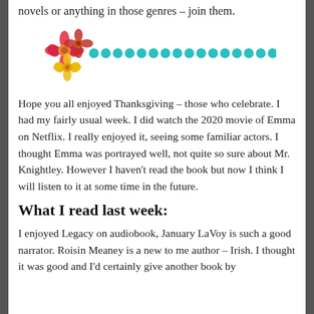novels or anything in those genres – join them.
[Figure (illustration): Decorative divider with two flowers (red and yellow) on the left and a row of teal/turquoise circles extending to the right.]
Hope you all enjoyed Thanksgiving – those who celebrate. I had my fairly usual week. I did watch the 2020 movie of Emma on Netflix. I really enjoyed it, seeing some familiar actors. I thought Emma was portrayed well, not quite so sure about Mr. Knightley. However I haven't read the book but now I think I will listen to it at some time in the future.
What I read last week:
I enjoyed Legacy on audiobook, January LaVoy is such a good narrator. Roisin Meaney is a new to me author – Irish. I thought it was good and I'd certainly give another book by